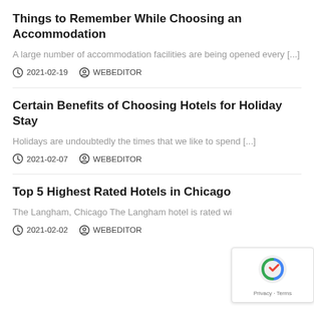Things to Remember While Choosing an Accommodation
A large number of accommodation facilities are being opened every [...]
2021-02-19   WEBEDITOR
Certain Benefits of Choosing Hotels for Holiday Stay
Holidays are undoubtedly the times that we like to spend [...]
2021-02-07   WEBEDITOR
Top 5 Highest Rated Hotels in Chicago
The Langham, Chicago The Langham hotel is rated wi
2021-02-02   WEBEDITOR